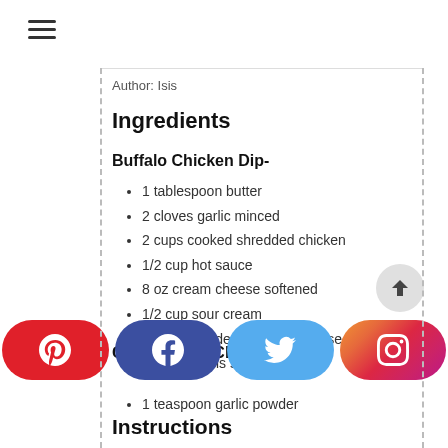[Figure (other): Hamburger menu icon (three horizontal lines)]
Author: Isis
Ingredients
Buffalo Chicken Dip-
1 tablespoon butter
2 cloves garlic minced
2 cups cooked shredded chicken
1/2 cup hot sauce
8 oz cream cheese softened
1/2 cup sour cream
1 cup shredded cheddar cheese
Green onions sliced
Garlic Butter Chips-
[Figure (other): Social media share bar with Pinterest, Facebook, Twitter, and Instagram buttons]
1 teaspoon garlic powder
Instructions